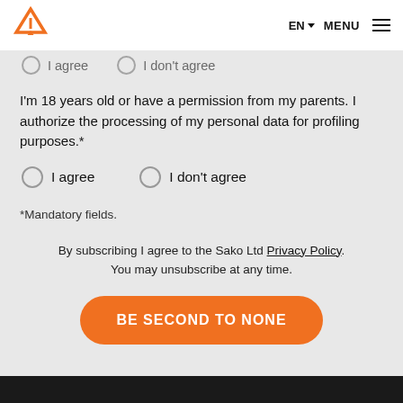SAKO logo | EN MENU
I agree   I don't agree
I'm 18 years old or have a permission from my parents. I authorize the processing of my personal data for profiling purposes.*
I agree   I don't agree
*Mandatory fields.
By subscribing I agree to the Sako Ltd Privacy Policy. You may unsubscribe at any time.
BE SECOND TO NONE